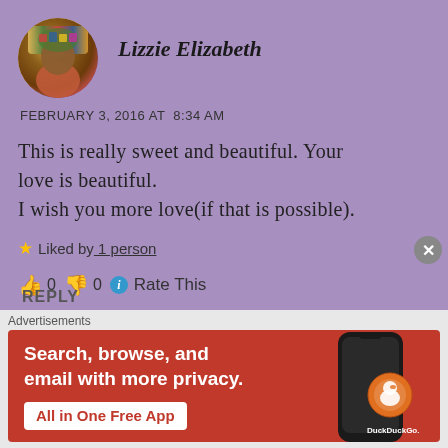[Figure (photo): Circular avatar photo of Lizzie Elizabeth with colorful hair accessories]
Lizzie Elizabeth
FEBRUARY 3, 2016 AT  8:34 AM
This is really sweet and beautiful. Your love is beautiful.
I wish you more love(if that is possible).
★ Liked by 1 person
👍 0 👎 0 ℹ Rate This
REPLY
Advertisements
[Figure (screenshot): DuckDuckGo advertisement banner with orange/red background showing phone with app. Text: Search, browse, and email with more privacy. All in One Free App. DuckDuckGo.]